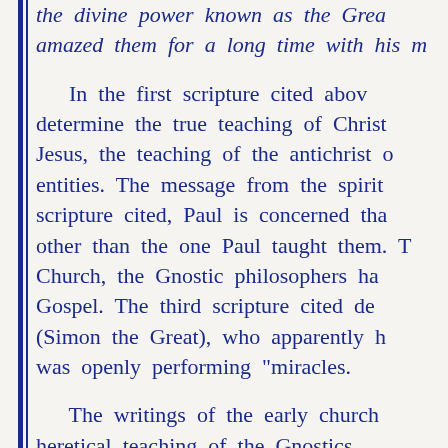the divine power known as the Great Power; he amazed them for a long time with his m...
In the first scripture cited above, to determine the true teaching of Christ Jesus, the teaching of the antichrist of entities. The message from the spirit scripture cited, Paul is concerned tha other than the one Paul taught them. T Church, the Gnostic philosophers ha Gospel. The third scripture cited d (Simon the Great), who apparently h was openly performing "miracles.
The writings of the early church heretical teaching of the Gnostics Beginning in the 2nd century, the G...